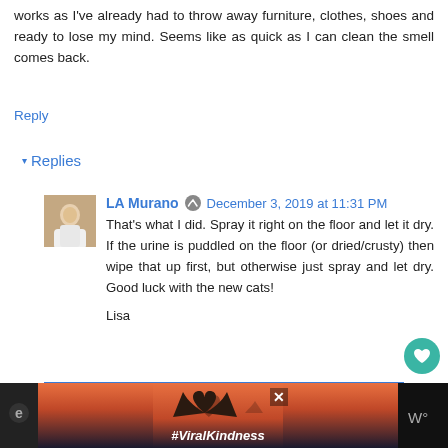works as I've already had to throw away furniture, clothes, shoes and ready to lose my mind. Seems like as quick as I can clean the smell comes back.
Reply
▾ Replies
LA Murano  December 3, 2019 at 11:31 PM
That's what I did. Spray it right on the floor and let it dry. If the urine is puddled on the floor (or dried/crusty) then wipe that up first, but otherwise just spray and let dry. Good luck with the new cats!

Lisa
Reply
[Figure (infographic): Advertisement bar with hand heart image and #ViralKindness hashtag]